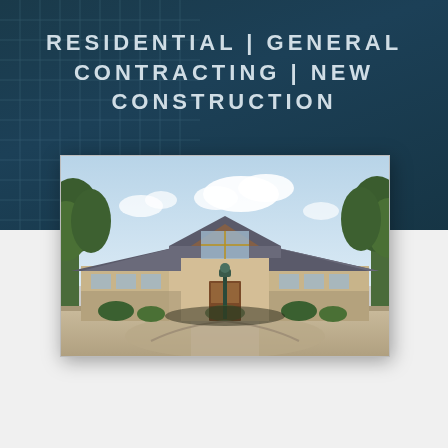RESIDENTIAL | GENERAL CONTRACTING | NEW CONSTRUCTION
[Figure (photo): Exterior photograph of a large single-story luxury residential home with hip roofs, stone and stucco façade, large windows, a central gabled entry with wood details, a circular driveway with a decorative lamp post, surrounded by mature green trees under a partly cloudy sky.]